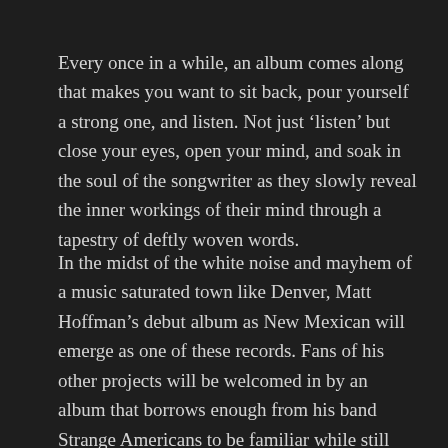Every once in a while, an album comes along that makes you want to sit back, pour yourself a strong one, and listen. Not just ‘listen’ but close your eyes, open your mind, and soak in the soul of the songwriter as they slowly reveal the inner workings of their mind through a tapestry of deftly woven words.
In the midst of the white noise and mayhem of a music saturated town like Denver, Matt Hoffman’s debut album as New Mexican will emerge as one of these records. Fans of his other projects will be welcomed in by an album that borrows enough from his band Strange Americans to be familiar while still